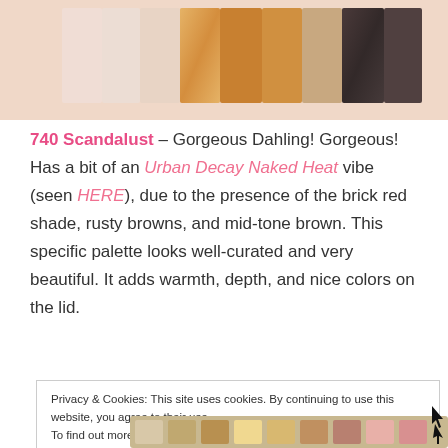[Figure (photo): Eyeshadow swatches on skin showing various colors from nude/pink on the left, a burnt orange/gold in the middle, and dark smoky brown/black shades on the right]
740 Scandalust – Gorgeous Dahling! Gorgeous! Has a bit of an Urban Decay Naked Heat vibe (seen HERE), due to the presence of the brick red shade, rusty browns, and mid-tone brown. This specific palette looks well-curated and very beautiful. It adds warmth, depth, and nice colors on the lid.
Privacy & Cookies: This site uses cookies. By continuing to use this website, you agree to their use.
To find out more, including how to control cookies, see here: Cookie Policy
[Figure (photo): Partial view of an eyeshadow palette at the bottom of the page]